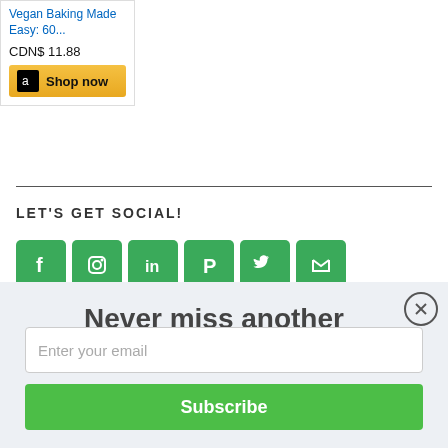[Figure (screenshot): Amazon product widget showing 'Vegan Baking Made Easy: 60...' at CDN$ 11.88 with a 'Shop now' button with Amazon logo]
LET'S GET SOCIAL!
[Figure (infographic): Row of 6 green social media icon buttons: Facebook, Instagram, LinkedIn, Pinterest, Twitter, and another]
[Figure (screenshot): Email subscription popup with text 'Never miss another delicious recipe!', an email input field, and a green Subscribe button]